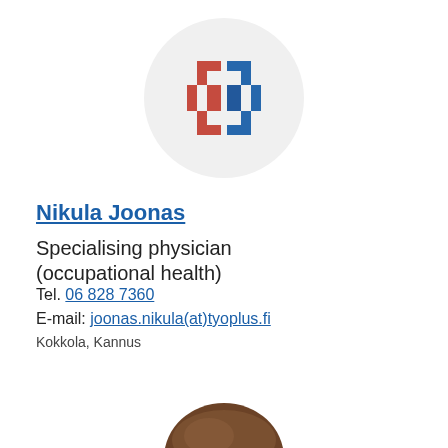[Figure (logo): Medical cross/plus logo made of two interlocking C-shapes, one red and one blue, inside a light grey circle]
Nikula Joonas
Specialising physician (occupational health)
Tel. 06 828 7360
E-mail: joonas.nikula(at)tyoplus.fi
Kokkola, Kannus
[Figure (photo): Top of a person's head with brown hair, partially visible at the bottom of the page]